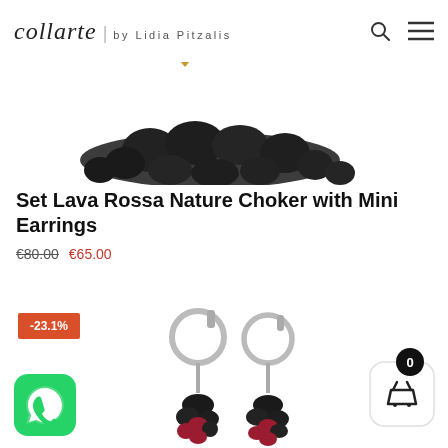collarte | by Lidia Pitzalis
[Figure (photo): Partial view of a dark lava stone bead bracelet/choker against white background]
Set Lava Rossa Nature Choker with Mini Earrings
€80.00 €65.00
[Figure (photo): Silver hoop earrings with dangling dark red/black lava bead drops, shown against white background, with -23.1% discount badge]
[Figure (other): WhatsApp contact button (green icon)]
[Figure (other): Shopping cart button with badge showing 0 items]